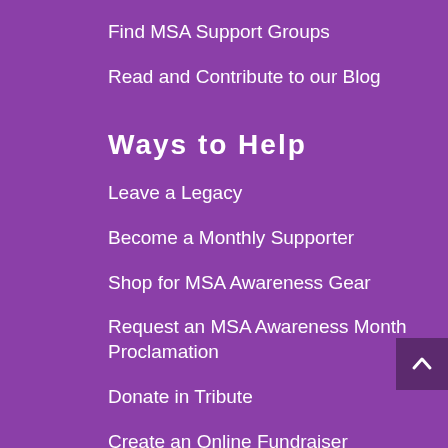Find MSA Support Groups
Read and Contribute to our Blog
Ways to Help
Leave a Legacy
Become a Monthly Supporter
Shop for MSA Awareness Gear
Request an MSA Awareness Month Proclamation
Donate in Tribute
Create an Online Fundraiser
Host a Live Event
Designate Memorial Donations
Federal Employees give via Combined Federal Campaign